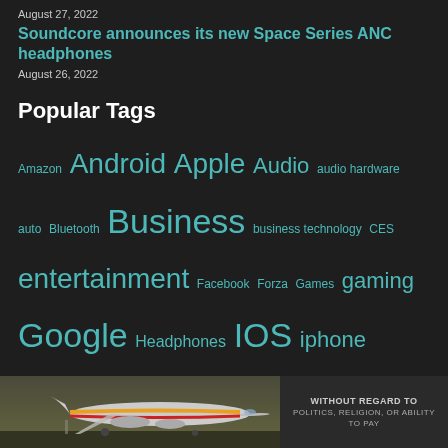August 27, 2022
Soundcore announces its new Space Series ANC headphones
August 26, 2022
Popular Tags
Amazon Android Apple Audio audio hardware auto Bluetooth Business business technology CES entertainment Facebook Forza Games gaming Google Headphones IOS iphone Kickstarter Laptop Lenovo Marvel Microsoft Mobile movies music Netflix Netflix Canada Playstation 4 Privacy Razer Review Reviews Samsung Security technology
[Figure (photo): Advertisement banner showing cargo airplane on tarmac with colorful livery, alongside text block reading WITHOUT REGARD TO (truncated)]